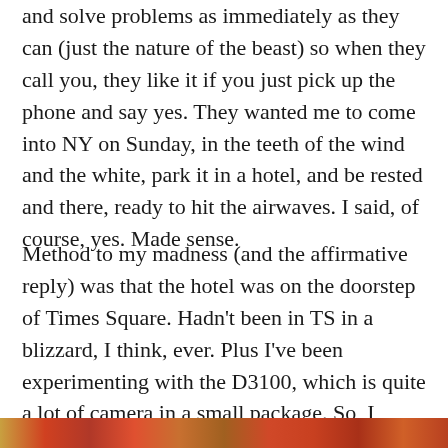and solve problems as immediately as they can (just the nature of the beast) so when they call you, they like it if you just pick up the phone and say yes. They wanted me to come into NY on Sunday, in the teeth of the wind and the white, park it in a hotel, and be rested and there, ready to hit the airwaves. I said, of course, yes. Made sense.
Method to my madness (and the affirmative reply) was that the hotel was on the doorstep of Times Square. Hadn't been in TS in a blizzard, I think, ever. Plus I've been experimenting with the D3100, which is quite a lot of camera in a small package. So, I checked in, and went out.
[Figure (photo): Partial view of a colorful photo strip at the bottom of the page, appearing to show Times Square or city imagery in warm red and orange tones.]